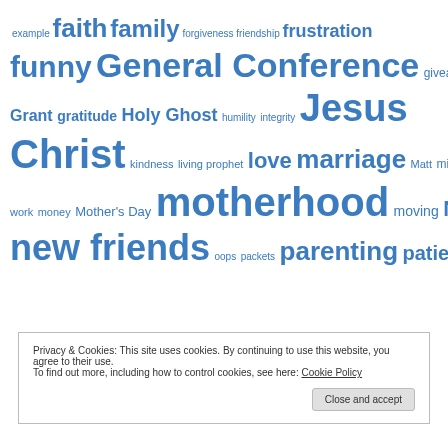[Figure (infographic): Tag cloud / word cloud with terms related to a religious/family blog. Terms in various sizes in blue: example, faith, family, forgiveness, friendship, frustration, funny, General Conference, giveaway, goals, Grant, gratitude, Holy Ghost, humility, integrity, Jesus Christ, kindness, living prophet, love, marriage, Matt, missionary work, money, Mother's Day, motherhood, moving, Natalie, new friends, oops, packets, parenting, patience]
Privacy & Cookies: This site uses cookies. By continuing to use this website, you agree to their use. To find out more, including how to control cookies, see here: Cookie Policy
Close and accept